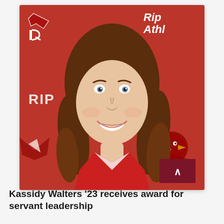[Figure (photo): Athletic headshot photo of Kassidy Walters, a young woman with curly brown hair and a big smile, wearing a red and white athletic jersey, posed in front of a red background with Ripon College Athletics branding (logos and 'RIPON' text visible). A dark red scroll-up button with a caret (^) is overlaid at the bottom right of the image.]
Kassidy Walters '23 receives award for servant leadership